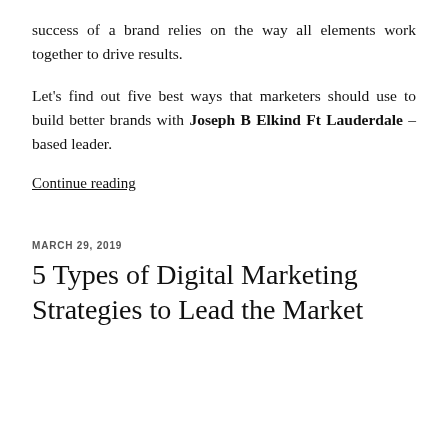success of a brand relies on the way all elements work together to drive results.
Let's find out five best ways that marketers should use to build better brands with Joseph B Elkind Ft Lauderdale – based leader.
Continue reading
MARCH 29, 2019
5 Types of Digital Marketing Strategies to Lead the Market